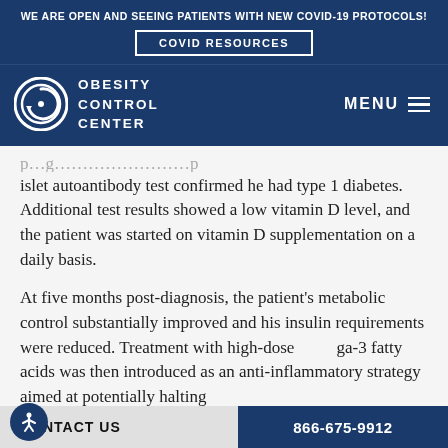WE ARE OPEN AND SEEING PATIENTS WITH NEW COVID-19 PROTOCOLS!
COVID RESOURCES
OBESITY CONTROL CENTER | MENU
islet autoantibody test confirmed he had type 1 diabetes. Additional test results showed a low vitamin D level, and the patient was started on vitamin D supplementation on a daily basis.
At five months post-diagnosis, the patient's metabolic control substantially improved and his insulin requirements were reduced. Treatment with high-dose omega-3 fatty acids was then introduced as an anti-inflammatory strategy aimed at potentially halting
CONTACT US | 866-675-9912